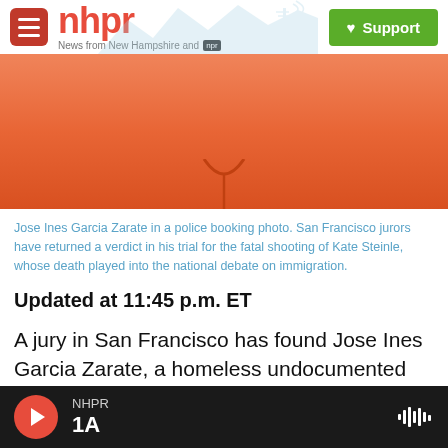nhpr — News from New Hampshire and NPR | Support
[Figure (photo): Close-up photo of Jose Ines Garcia Zarate in an orange shirt/jumpsuit, police booking photo, cropped to show neck and chest area]
Jose Ines Garcia Zarate in a police booking photo. San Francisco jurors have returned a verdict in his trial for the fatal shooting of Kate Steinle, whose death played into the national debate on immigration.
Updated at 11:45 p.m. ET
A jury in San Francisco has found Jose Ines Garcia Zarate, a homeless undocumented Mexican immigrant, not guilty of murder in the death of 32-year-old Kate Steinle two years ago in a case that
NHPR 1A